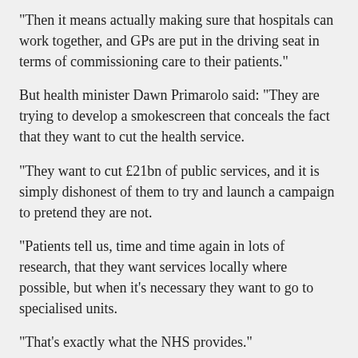“Then it means actually making sure that hospitals can work together, and GPs are put in the driving seat in terms of commissioning care to their patients.”
But health minister Dawn Primarolo said: “They are trying to develop a smokescreen that conceals the fact that they want to cut the health service.
“They want to cut £21bn of public services, and it is simply dishonest of them to try and launch a campaign to pretend they are not.
“Patients tell us, time and time again in lots of research, that they want services locally where possible, but when it’s necessary they want to go to specialised units.
“That’s exactly what the NHS provides.”
The Conservative Party